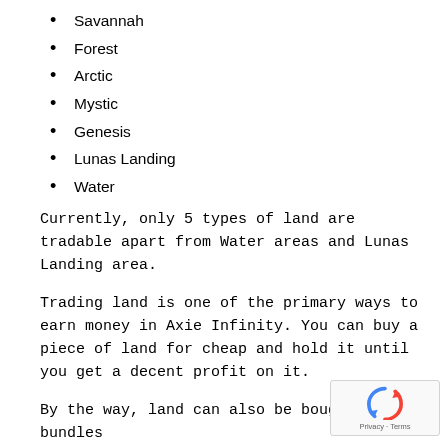Savannah
Forest
Arctic
Mystic
Genesis
Lunas Landing
Water
Currently, only 5 types of land are tradable apart from Water areas and Lunas Landing area.
Trading land is one of the primary ways to earn money in Axie Infinity. You can buy a piece of land for cheap and hold it until you get a decent profit on it.
By the way, land can also be bought in bundles a larger area.
[Figure (logo): reCAPTCHA logo with Privacy and Terms text]